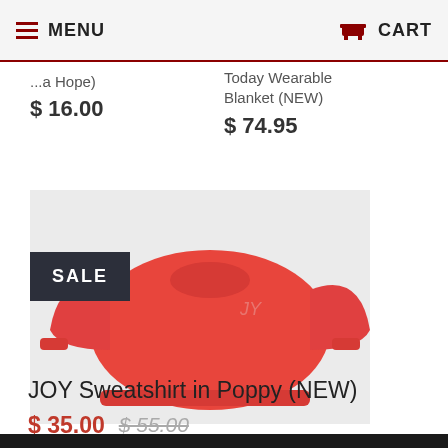MENU   CART
(Hope)   $ 16.00
Today Wearable Blanket (NEW)   $ 74.95
[Figure (photo): Red JOY Sweatshirt in Poppy displayed flat, with SALE badge overlay in dark background]
JOY Sweatshirt in Poppy (NEW)
$ 35.00  $ 55.00